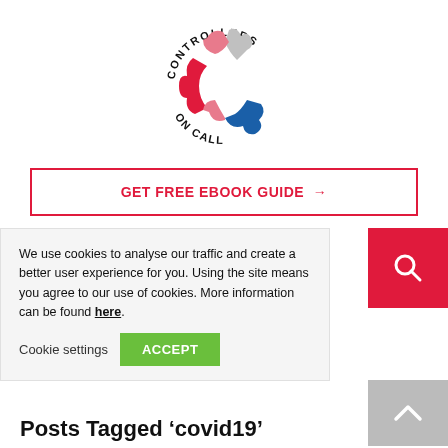[Figure (logo): Controllers On Call logo — a puzzle-piece letter C in red, pink, gray, blue colors, with text 'CONTROLLERS ON CALL' arced around it]
[Figure (other): Red-bordered button reading 'GET FREE EBOOK GUIDE →' in red bold text]
We use cookies to analyse our traffic and create a better user experience for you. Using the site means you agree to our use of cookies. More information can be found here.
Cookie settings   ACCEPT
[Figure (other): Red square button with white magnifying glass / search icon]
[Figure (other): Gray square button with white upward chevron arrow (scroll to top)]
Posts Tagged 'covid19'